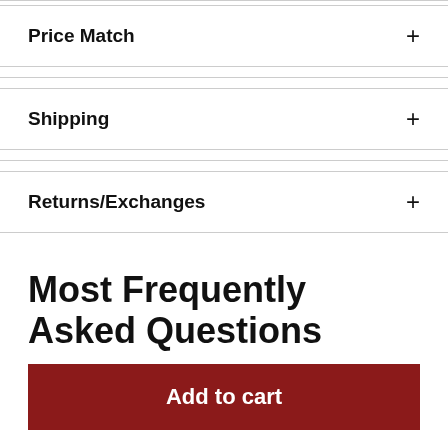Price Match +
Shipping +
Returns/Exchanges +
Most Frequently Asked Questions
Add to cart